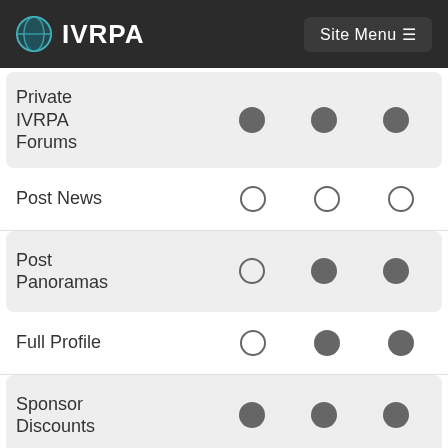IVRPA | Site Menu
| Feature | Col1 | Col2 | Col3 |
| --- | --- | --- | --- |
| Private IVRPA Forums | filled | filled | filled |
| Post News | empty | empty | empty |
| Post Panoramas | empty | filled | filled |
| Full Profile | empty | filled | filled |
| Sponsor Discounts | filled | filled | filled |
| IVRPA Conference Discounts | filled | filled | filled |
| Conference Video | filled | filled | filled |